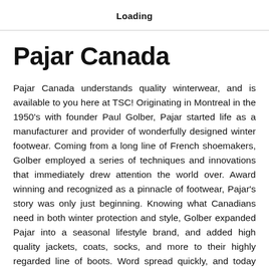Loading
Pajar Canada
Pajar Canada understands quality winterwear, and is available to you here at TSC! Originating in Montreal in the 1950's with founder Paul Golber, Pajar started life as a manufacturer and provider of wonderfully designed winter footwear. Coming from a long line of French shoemakers, Golber employed a series of techniques and innovations that immediately drew attention the world over. Award winning and recognized as a pinnacle of footwear, Pajar's story was only just beginning. Knowing what Canadians need in both winter protection and style, Golber expanded Pajar into a seasonal lifestyle brand, and added high quality jackets, coats, socks, and more to their highly regarded line of boots. Word spread quickly, and today Pajar is sold in over 40 nations around the planet. They still remain proudly Canadian though, and family owned to this day. Pajar is a